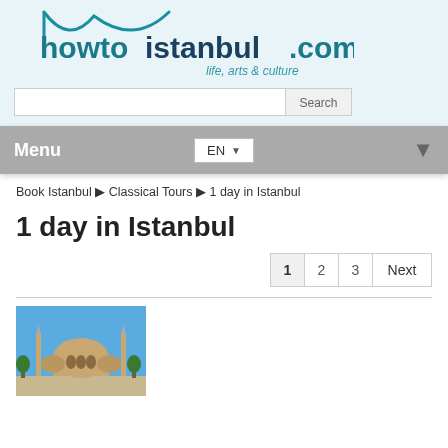[Figure (logo): howtoistanbul.com logo with teal arch graphic and tagline 'life, arts & culture']
Book Istanbul ▶ Classical Tours ▶ 1 day in Istanbul
1 day in Istanbul
1  2  3  Next
[Figure (photo): Photo of Hagia Sophia mosque with blue sky background]